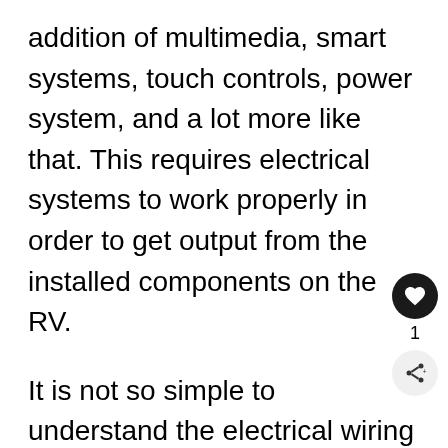addition of multimedia, smart systems, touch controls, power system, and a lot more like that. This requires electrical systems to work properly in order to get output from the installed components on the RV.
It is not so simple to understand the electrical wiring structure of an RV because there are a lot of complications in there, and only experts can understand it.
However, what you can do is